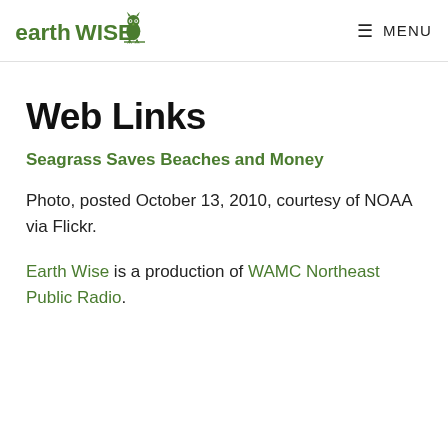earthWISE | MENU
Web Links
Seagrass Saves Beaches and Money
Photo, posted October 13, 2010, courtesy of NOAA via Flickr.
Earth Wise is a production of WAMC Northeast Public Radio.